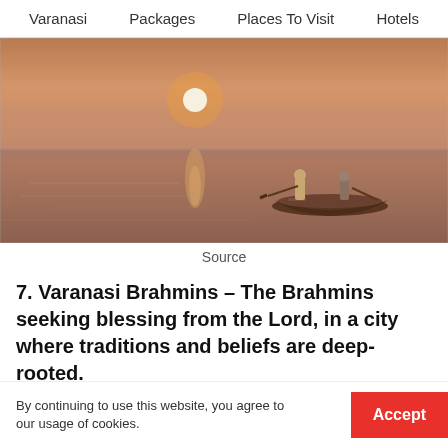Varanasi   Packages   Places To Visit   Hotels
[Figure (photo): Sunrise over the Ganges river with two people in a wooden rowboat, hazy orange sky with sun near the horizon, distant shore in background, calm water with reflections]
Source
7. Varanasi Brahmins – The Brahmins seeking blessing from the Lord, in a city where traditions and beliefs are deep-rooted.
By continuing to use this website, you agree to our usage of cookies.